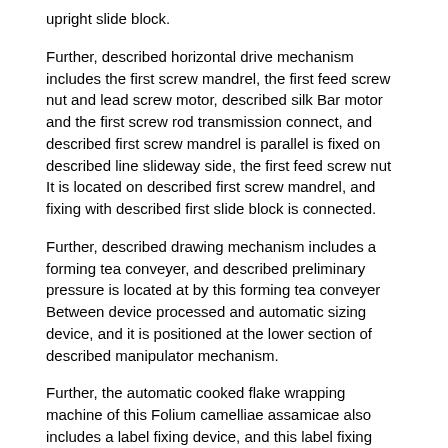upright slide block.
Further, described horizontal drive mechanism includes the first screw mandrel, the first feed screw nut and lead screw motor, described silk Bar motor and the first screw rod transmission connect, and described first screw mandrel is parallel is fixed on described line slideway side, the first feed screw nut It is located on described first screw mandrel, and fixing with described first slide block is connected.
Further, described drawing mechanism includes a forming tea conveyer, and described preliminary pressure is located at by this forming tea conveyer Between device processed and automatic sizing device, and it is positioned at the lower section of described manipulator mechanism.
Further, the automatic cooked flake wrapping machine of this Folium camelliae assamicae also includes a label fixing device, and this label fixing device includes Three elevating mechanisms, label draw frame machine, Folium Camelliae sinensis grasping mechanism and Folium Camelliae sinensis flatten mechanism, and described label draw frame machine and Folium Camelliae sinensis are